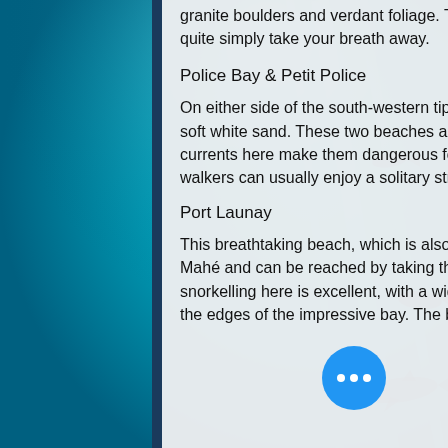granite boulders and verdant foliage. The powder-soft sand and turquoise waters of this bay will quite simply take your breath away.
Police Bay & Petit Police
On either side of the south-western tip of Mahé are two magnificent bays with rolling waves and soft white sand. These two beaches are best suited for walking and photography as the strong currents here make them dangerous for swimming. Because of this and their remote location, walkers can usually enjoy a solitary stroll along this pristine coastline.
Port Launay
This breathtaking beach, which is also a Marine National Park, is on the north-western coast of Mahé and can be reached by taking the road past Port Glaud. Swimming and especially snorkelling here is excellent, with a wide variety of colourful fish that can be seen in and around the edges of the impressive bay. The beach itself is large and wide with white sand
[Figure (photo): Underwater photo showing turquoise water with fish and a shark silhouette, visible on the right side of the page behind the content panel]